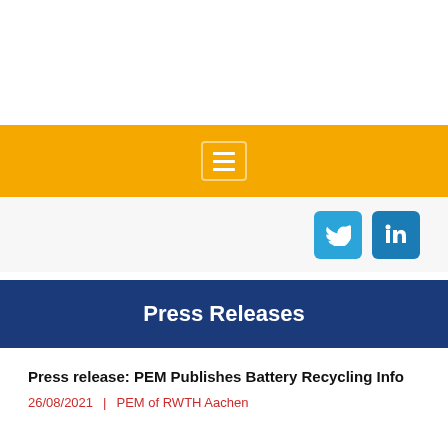[Figure (screenshot): White top area of a website header]
Navigation bar with hamburger menu icon on orange/amber background
[Figure (screenshot): Social media icons: Twitter (blue bird) and LinkedIn (blue 'in') on light grey background]
Press Releases
Press release: PEM Publishes Battery Recycling Info
26/08/2021 | PEM of RWTH Aachen